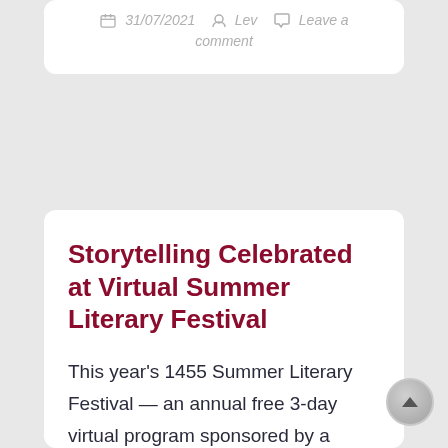31/07/2021  Lev  Leave a comment
Storytelling Celebrated at Virtual Summer Literary Festival
This year's 1455 Summer Literary Festival — an annual free 3-day virtual program sponsored by a group of universities in Virginia — featured over 200 authors, poets, and creative artists sharing their